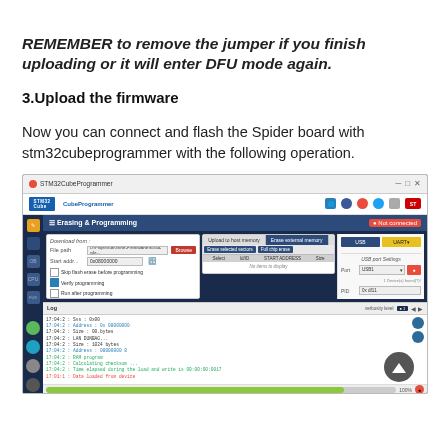REMEMBER to remove the jumper if you finish uploading or it will enter DFU mode again.
3.Upload the firmware
Now you can connect and flash the Spider board with stm32cubeprogrammer with the following operation.
[Figure (screenshot): STM32CubeProgrammer application screenshot showing the Erasing & Programming panel with file path, start address, verify programming checkbox, a Start Programming button, log output showing addresses and sizes, a progress bar at 100%, and USB port configuration on the right side.]